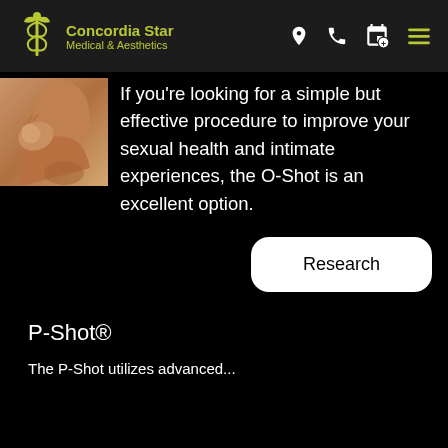Concordia Star Medical & Aesthetics
[Figure (photo): Close-up photo of a woman's neck and chin area with warm skin tones]
If you're looking for a simple but effective procedure to improve your sexual health and intimate experiences, the O-Shot is an excellent option.
Research
P-Shot®
The P-Shot utilizes advanced...